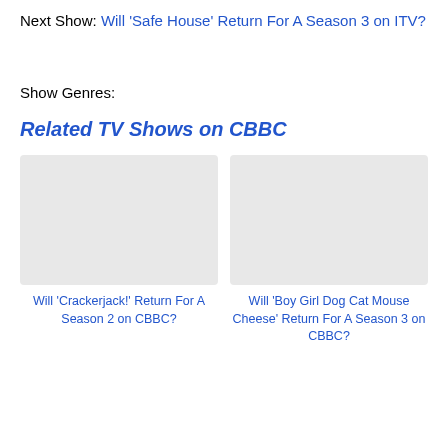Next Show: Will 'Safe House' Return For A Season 3 on ITV?
Show Genres:
Related TV Shows on CBBC
Will 'Crackerjack!' Return For A Season 2 on CBBC?
Will 'Boy Girl Dog Cat Mouse Cheese' Return For A Season 3 on CBBC?